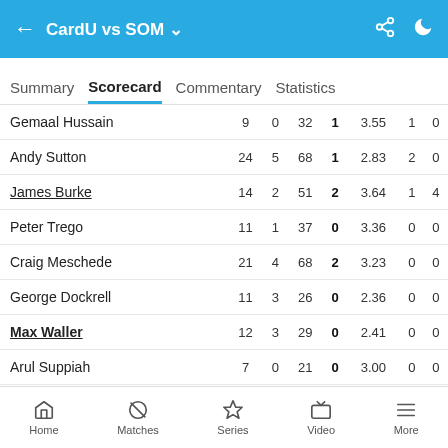CardU vs SOM
Summary  Scorecard  Commentary  Statistics
| Player | O | M | R | W | Econ | WD | NB |
| --- | --- | --- | --- | --- | --- | --- | --- |
| Gemaal Hussain | 9 | 0 | 32 | 1 | 3.55 | 1 | 0 |
| Andy Sutton | 24 | 5 | 68 | 1 | 2.83 | 2 | 0 |
| James Burke | 14 | 2 | 51 | 2 | 3.64 | 1 | 4 |
| Peter Trego | 11 | 1 | 37 | 0 | 3.36 | 0 | 0 |
| Craig Meschede | 21 | 4 | 68 | 2 | 3.23 | 0 | 0 |
| George Dockrell | 11 | 3 | 26 | 0 | 2.36 | 0 | 0 |
| Max Waller | 12 | 3 | 29 | 0 | 2.41 | 0 | 0 |
| Arul Suppiah | 7 | 0 | 21 | 0 | 3.00 | 0 | 0 |
Home  Matches  Series  Video  More